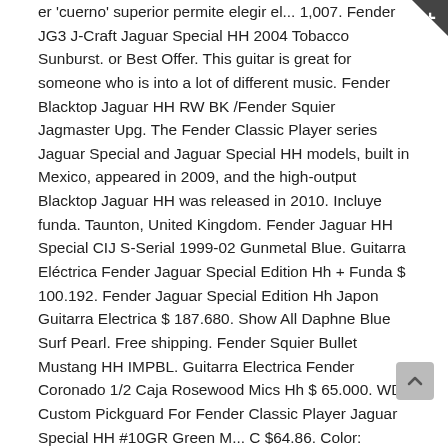er 'cuerno' superior permite elegir el... 1,007. Fender JG3 J-Craft Jaguar Special HH 2004 Tobacco Sunburst. or Best Offer. This guitar is great for someone who is into a lot of different music. Fender Blacktop Jaguar HH RW BK /Fender Squier Jagmaster Upg. The Fender Classic Player series Jaguar Special and Jaguar Special HH models, built in Mexico, appeared in 2009, and the high-output Blacktop Jaguar HH was released in 2010. Incluye funda. Taunton, United Kingdom. Fender Jaguar HH Special CIJ S-Serial 1999-02 Gunmetal Blue. Guitarra Eléctrica Fender Jaguar Special Edition Hh + Funda $ 100.192. Fender Jaguar Special Edition Hh Japon Guitarra Electrica $ 187.680. Show All Daphne Blue Surf Pearl. Free shipping. Fender Squier Bullet Mustang HH IMPBL. Guitarra Electrica Fender Coronado 1/2 Caja Rosewood Mics Hh $ 65.000. WD Custom Pickguard For Fender Classic Player Jaguar Special HH #10GR Green M... C $64.86. Color: Candy apple red. Quick Responder. BRYNZGTRZ. GAS STATION GUITARS. 90s Fender Jaguar MIJ Reissue, w/ Fender case! por stardusted81 el 18/03/2018 8. Greasy Groove® pickguards for the Fender® Jaguar® HH. ... Fender® USA 250R Nickel Plated Steel (.010-.046 Gauges) Other Features. $1,095. Not looking for a cash sale as this is my main axe . C $1,379.30. Itabashi_ku, Japan. Stratocaster Fernandes R9 ( Fender, Mexico, Japan, Hss ) Honda $ 46.548. click to preview... Guitarra...